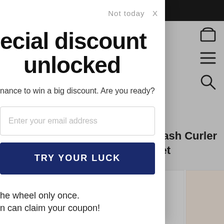[Figure (screenshot): E-commerce website background showing dark top navigation bar, shopping bag icon, hamburger menu icon, search icon, and partial product title 'Eyelash Curler rs Set' with product images below]
Not today  X
ecial discount unlocked
nance to win a big discount. Are you ready?
Enter your email address
TRY YOUR LUCK
he wheel only once.
n can claim your coupon!